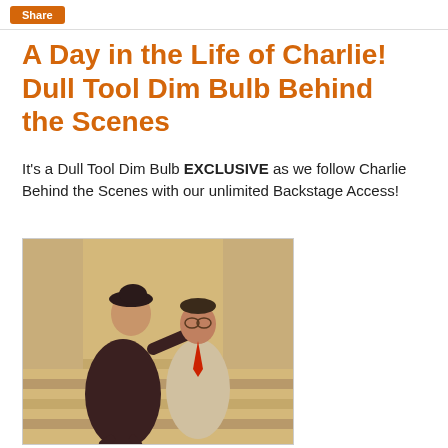Share
A Day in the Life of Charlie! Dull Tool Dim Bulb Behind the Scenes
It's a Dull Tool Dim Bulb EXCLUSIVE as we follow Charlie Behind the Scenes with our unlimited Backstage Access!
[Figure (photo): Vintage sepia-toned photograph of a woman in a dark dress and hat leaning toward a man in a suit with a red tie, both appearing to be from a 1930s-1940s era performance or film scene.]